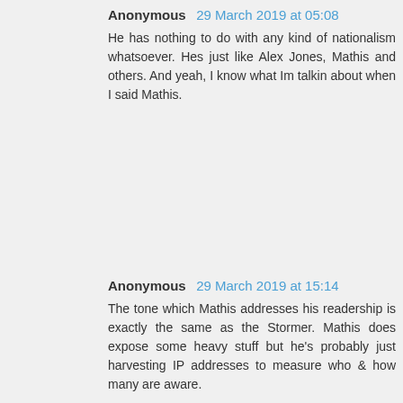Anonymous 29 March 2019 at 05:08
He has nothing to do with any kind of nationalism whatsoever. Hes just like Alex Jones, Mathis and others. And yeah, I know what Im talkin about when I said Mathis.
Anonymous 29 March 2019 at 15:14
The tone which Mathis addresses his readership is exactly the same as the Stormer. Mathis does expose some heavy stuff but he's probably just harvesting IP addresses to measure who & how many are aware.
Reply
Anonymous 29 March 2019 at 03:50
https://sputniknews.com/europe/201903281073610688-finland-paedophile-ring/